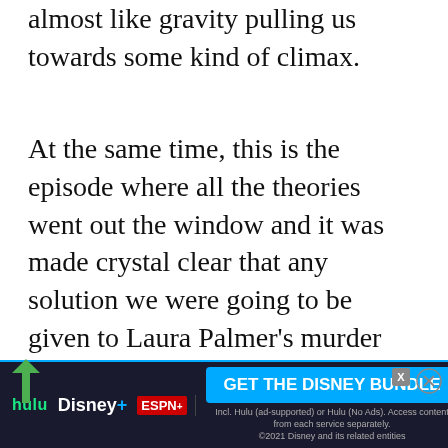almost like gravity pulling us towards some kind of climax.
At the same time, this is the episode where all the theories went out the window and it was made crystal clear that any solution we were going to be given to Laura Palmer's murder wasn’t going to be straight. The mystical elements that had been at the fringe all along now move into the center of everything. BOB and MIKE are the demons of the title, one reformed, one still lurking inside someone, where he’d been for 40 years, meaning BOB could be one of the show’s adults...
[Figure (infographic): Advertisement banner for Disney Bundle (Hulu, Disney+, ESPN+) with 'GET THE DISNEY BUNDLE' call to action button and fine print about ad-supported Hulu options. Close button (X) visible.]